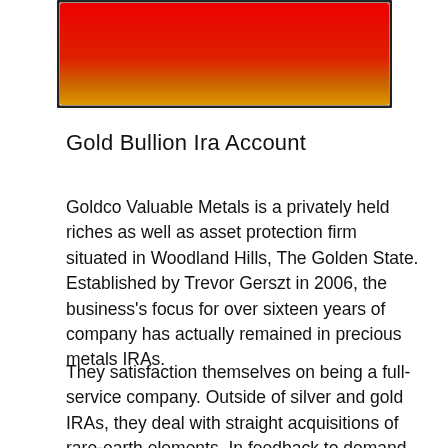[Figure (illustration): A rectangular image with a gradient from red at the top to orange/yellow at the bottom, with a dark border.]
Gold Bullion Ira Account
Goldco Valuable Metals is a privately held riches as well as asset protection firm situated in Woodland Hills, The Golden State. Established by Trevor Gerszt in 2006, the business’s focus for over sixteen years of company has actually remained in precious metals IRAs.
They satisfaction themselves on being a full-service company. Outside of silver and gold IRAs, they deal with straight acquisitions of rare-earth elements. In feedback to demand in the marketplace, Goldco’s CEO has